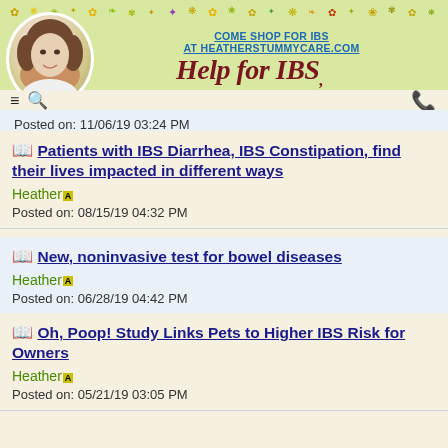[Figure (illustration): Website header with floral decoration strip, circular portrait photo of woman, Help for IBS logo text, navigation icons (hamburger menu and search), phone icon, and shop link text]
Posted on: 11/06/19 03:24 PM
📖 Patients with IBS Diarrhea, IBS Constipation, find their lives impacted in different ways
Heather
Posted on: 08/15/19 04:32 PM
📖 New, noninvasive test for bowel diseases
Heather
Posted on: 06/28/19 04:42 PM
📖 Oh, Poop! Study Links Pets to Higher IBS Risk for Owners
Heather
Posted on: 05/21/19 03:05 PM